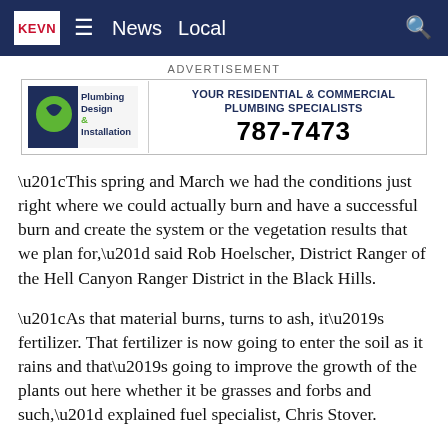KEVN  ≡  News  Local  🔍
[Figure (other): Advertisement for Plumbing Design & Installation with logo, tagline 'Your Residential & Commercial Plumbing Specialists' and phone number 787-7473]
“This spring and March we had the conditions just right where we could actually burn and have a successful burn and create the system or the vegetation results that we plan for,” said Rob Hoelscher, District Ranger of the Hell Canyon Ranger District in the Black Hills.
“As that material burns, turns to ash, it’s fertilizer. That fertilizer is now going to enter the soil as it rains and that’s going to improve the growth of the plants out here whether it be grasses and forbs and such,” explained fuel specialist, Chris Stover.
Not only does the vegetation return, but wildlife revisits the